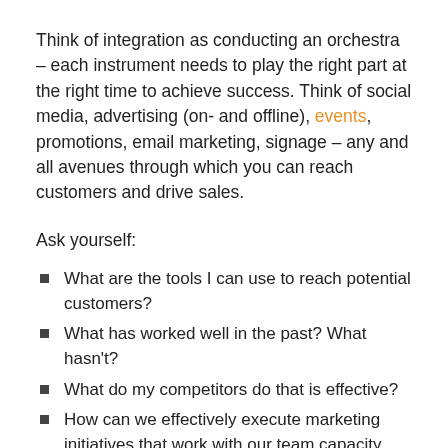Think of integration as conducting an orchestra – each instrument needs to play the right part at the right time to achieve success. Think of social media, advertising (on- and offline), events, promotions, email marketing, signage – any and all avenues through which you can reach customers and drive sales.
Ask yourself:
What are the tools I can use to reach potential customers?
What has worked well in the past? What hasn't?
What do my competitors do that is effective?
How can we effectively execute marketing initiatives that work with our team capacity and budget?
How can we create and execute a realistic plan to